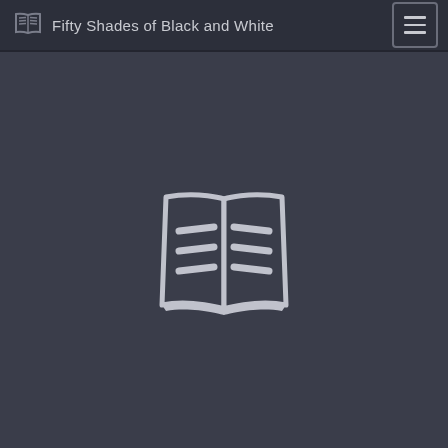Fifty Shades of Black and White
[Figure (illustration): Large open book icon centered on dark background, rendered in outline style with horizontal lines representing text on two pages]